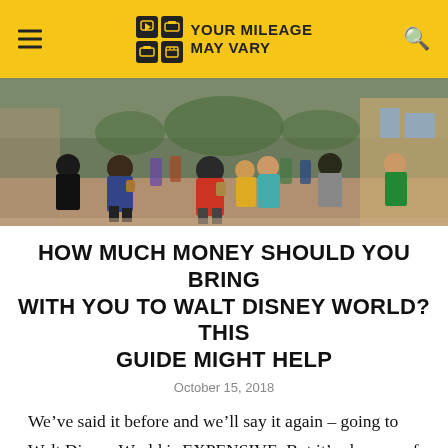YOUR MILEAGE MAY VARY
[Figure (photo): Crowd of people walking down a busy street at Walt Disney World, viewed from behind, colorful clothing, shops visible on sides]
HOW MUCH MONEY SHOULD YOU BRING WITH YOU TO WALT DISNEY WORLD? THIS GUIDE MIGHT HELP
October 15, 2018
We’ve said it before and we’ll say it again – going to Walt Disney World is EXPENSIVE. But it’s also one of those vacations where you can cut costs in lots of ways in order to make it as affordable as possible. Or you can be super extravagant, with all the bells and whistles and special extras, if that’s